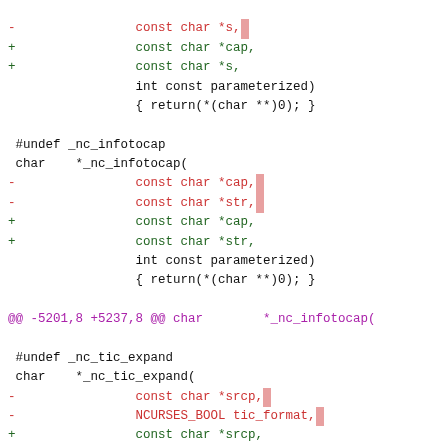diff hunk showing changes to _nc_infotocap and _nc_tic_expand and _nc_check_termtype2 function signatures
@@ -5201,8 +5237,8 @@ char        *_nc_infotocap(
@@ -5210,28 +5246,28 @@ char     *_nc_tic_expand(